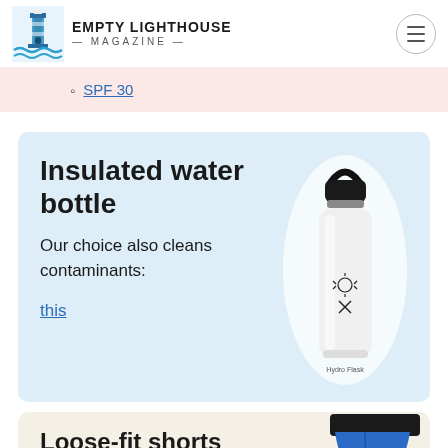Empty Lighthouse Magazine
SPF 30
Insulated water bottle
Our choice also cleans contaminants:
this
[Figure (photo): White Hydro Flask insulated water bottle with black flex cap and handle, on light blue background]
Loose-fit shorts
[Figure (photo): Partial view of blue and black loose-fit shorts]